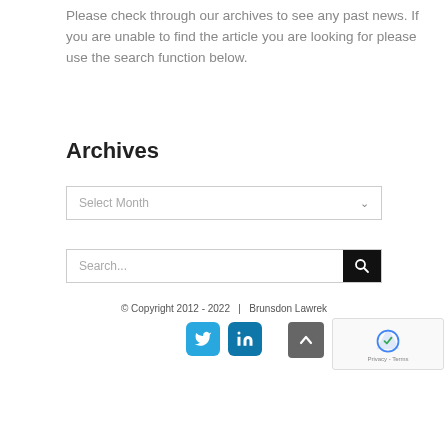Please check through our archives to see any past news. If you are unable to find the article you are looking for please use the search function below.
Archives
Select Month
Search...
© Copyright 2012 - 2022  |  Brunsdon Lawrek